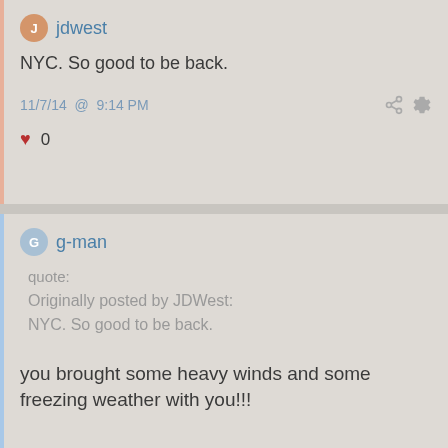jdwest
NYC. So good to be back.
11/7/14 @ 9:14 PM
♥ 0
g-man
quote:
Originally posted by JDWest:
NYC. So good to be back.
you brought some heavy winds and some freezing weather with you!!!